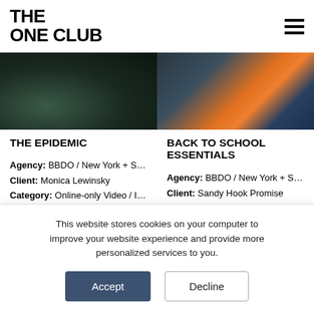THE ONE CLUB
[Figure (photo): Two dark-toned photos side by side: left shows people in dark clothing, right shows a person in a blue jacket with orange details]
THE EPIDEMIC
Agency: BBDO / New York + San...
Client: Monica Lewinsky
Category: Online-only Video / Int...
Points: 15.0
BACK TO SCHOOL ESSENTIALS
Agency: BBDO / New York + Smu...
Client: Sandy Hook Promise
Category: Television & VOD / Lon...
Points: 15.0
This website stores cookies on your computer to improve your website experience and provide more personalized services to you.